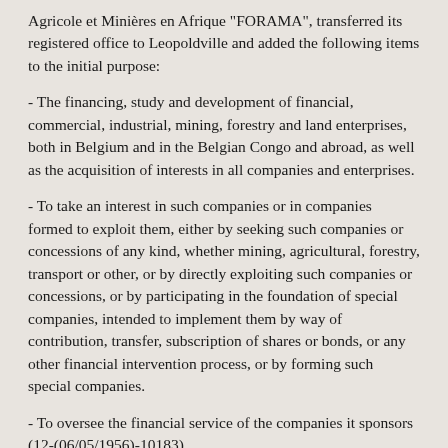Agricole et Minières en Afrique "FORAMA", transferred its registered office to Leopoldville and added the following items to the initial purpose:
- The financing, study and development of financial, commercial, industrial, mining, forestry and land enterprises, both in Belgium and in the Belgian Congo and abroad, as well as the acquisition of interests in all companies and enterprises.
- To take an interest in such companies or in companies formed to exploit them, either by seeking such companies or concessions of any kind, whether mining, agricultural, forestry, transport or other, or by directly exploiting such companies or concessions, or by participating in the foundation of special companies, intended to implement them by way of contribution, transfer, subscription of shares or bonds, or any other financial intervention process, or by forming such special companies.
- To oversee the financial service of the companies it sponsors (12-(06/05/1956)-10183).
In the same year, on November 15, the General Meeting decided